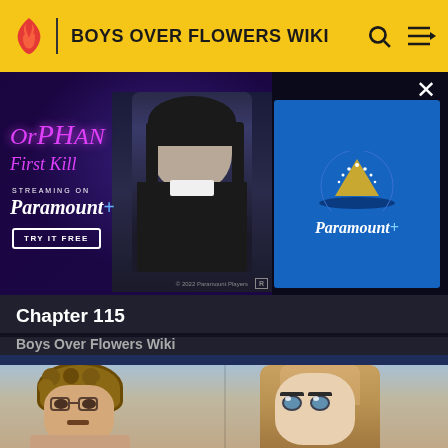BOYS OVER FLOWERS WIKI
[Figure (screenshot): Advertisement for 'Orphan: First Kill' streaming on Paramount+. Left panel shows movie poster with person in dark clothing and pink stylized title text 'OrpHAN First Kill', 'STREAMING ON Paramount+', 'TRY IT FREE' button. Right panel shows Paramount+ blue logo panel.]
Chapter 115
Boys Over Flowers Wiki
[Figure (illustration): Manga-style illustration showing two anime characters: on the left, a male character with curly/wavy brown hair and small mustache; on the right, a female character with long straight blonde/light brown hair. Both shown from shoulders up with large expressive eyes in manga art style.]